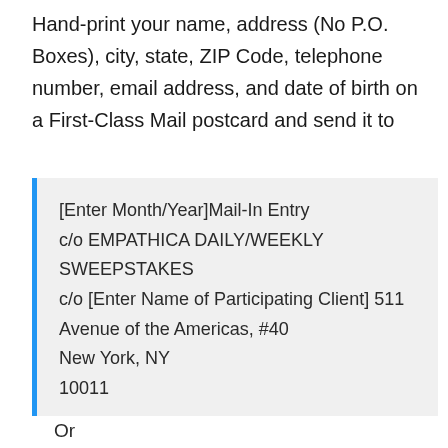Hand-print your name, address (No P.O. Boxes), city, state, ZIP Code, telephone number, email address, and date of birth on a First-Class Mail postcard and send it to
[Enter Month/Year]Mail-In Entry
c/o EMPATHICA DAILY/WEEKLY SWEEPSTAKES
c/o [Enter Name of Participating Client] 511 Avenue of the Americas, #40
New York, NY
10011
Or